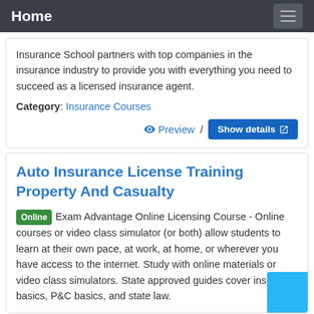Home
Insurance School partners with top companies in the insurance industry to provide you with everything you need to succeed as a licensed insurance agent.
Category: Insurance Courses
Preview / Show details
Auto Insurance License Training Property And Casualty
Online Exam Advantage Online Licensing Course - Online courses or video class simulator (or both) allow students to learn at their own pace, at work, at home, or wherever you have access to the internet. Study with online materials or video class simulators. State approved guides cover insurance basics, P&C basics, and state law.